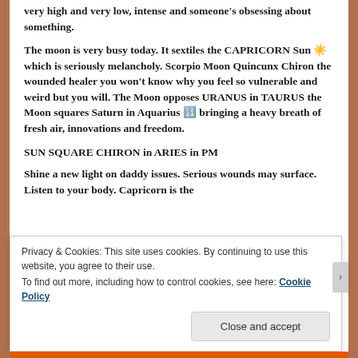very high and very low, intense and someone's obsessing about something.
The moon is very busy today. It sextiles the CAPRICORN Sun ☀️ which is seriously melancholy. Scorpio Moon Quincunx Chiron the wounded healer you won't know why you feel so vulnerable and weird but you will. The Moon opposes URANUS in TAURUS the Moon squares Saturn in Aquarius 🔯 bringing a heavy breath of fresh air, innovations and freedom.
SUN SQUARE CHIRON in ARIES in PM
Shine a new light on daddy issues. Serious wounds may surface. Listen to your body. Capricorn is the
Privacy & Cookies: This site uses cookies. By continuing to use this website, you agree to their use.
To find out more, including how to control cookies, see here: Cookie Policy